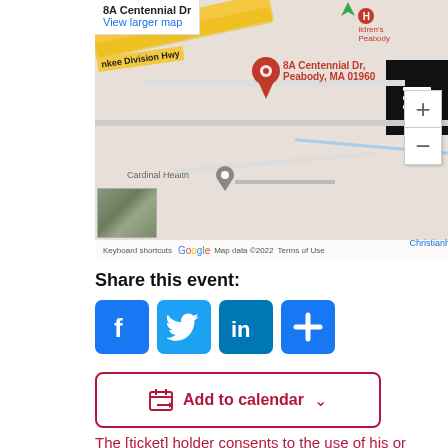[Figure (map): Google Maps screenshot showing 8A Centennial Dr, Peabody, MA 01960 with red location pin, Cardinal Health marker, zoom controls, and satellite thumbnail. Shows Yankee Division Hwy and surrounding roads. Map data ©2022.]
Share this event:
[Figure (infographic): Social sharing icons: Facebook (f), Twitter bird, LinkedIn (in), and a plus (+) button, all in rounded blue squares.]
[Figure (other): Add to calendar button with calendar icon and dropdown arrow, in dark red/crimson border.]
The [ticket] holder consents to the use of his or